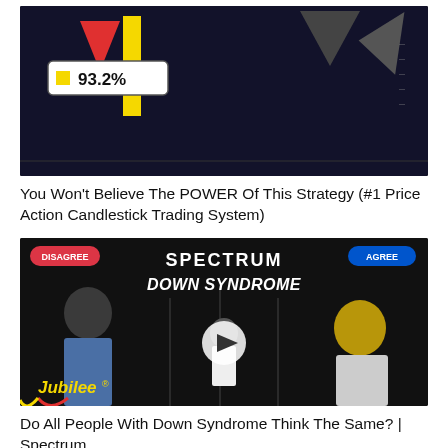[Figure (screenshot): Video thumbnail showing '93.2%' badge with yellow square, red and dark arrows on dark background — trading strategy video]
You Won't Believe The POWER Of This Strategy (#1 Price Action Candlestick Trading System)
[Figure (screenshot): Video thumbnail for 'Spectrum: Down Syndrome' by Jubilee, showing DISAGREE and AGREE badges, two people, play button in center]
Do All People With Down Syndrome Think The Same? | Spectrum